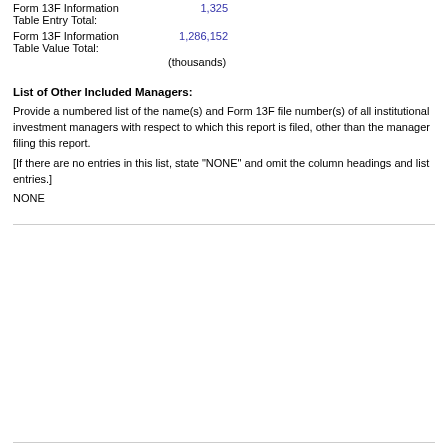Form 13F Information Table Entry Total: 1,325
Form 13F Information Table Value Total: 1,286,152 (thousands)
List of Other Included Managers:
Provide a numbered list of the name(s) and Form 13F file number(s) of all institutional investment managers with respect to which this report is filed, other than the manager filing this report.
[If there are no entries in this list, state “NONE” and omit the column headings and list entries.]
NONE